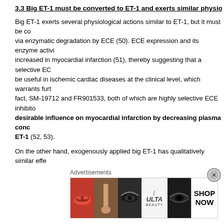3.3 Big ET-1 must be converted to ET-1 and exerts similar physiological t
Big ET-1 exerts several physiological actions similar to ET-1, but it must be co via enzymatic degradation by ECE (50). ECE expression and its enzyme activi increased in myocardial infarction (51), thereby suggesting that a selective EC be useful in ischemic cardiac diseases at the clinical level, which warrants furt fact, SM-19712 and FR901533, both of which are highly selective ECE inhibito desirable influence on myocardial infarction by decreasing plasma conc ET-1 (52, 53).
On the other hand, exogenously applied big ET-1 has qualitatively similar effe cardiovascular system in vivo and in vitro (54 – 57). Against this background, demonstrated that exogenously applied ET-1 exhibited opposite effects to endogenously released ET-1 on ischemic ventricular arrhythmias (58).
The Japanese Team also reported that exogenous big ET-1 suppressed ischemia/reperfusion-induced NE overflow and improved ca dysfunction observed after reperfusion, in spite of the fact that ET-1 conter effluent from the heart exposed to ischemia/reperfusion was increased by exo application (59). In addition, treatment with big ET-1 in the presence of A-
Advertisements
[Figure (other): ULTA beauty advertisement banner with makeup imagery and SHOP NOW call to action]